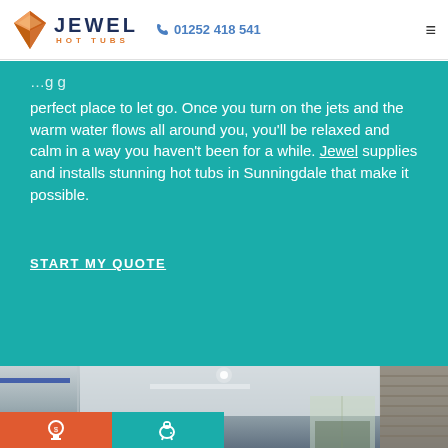Jewel Hot Tubs | 01252 418 541
perfect place to let go. Once you turn on the jets and the warm water flows all around you, you'll be relaxed and calm in a way you haven't been for a while. Jewel supplies and installs stunning hot tubs in Sunningdale that make it possible.
START MY QUOTE
[Figure (photo): Interior photo of a modern room with a white ceiling featuring recessed lighting and a blue LED accent strip, stone or brick wall visible on the right, large window in background.]